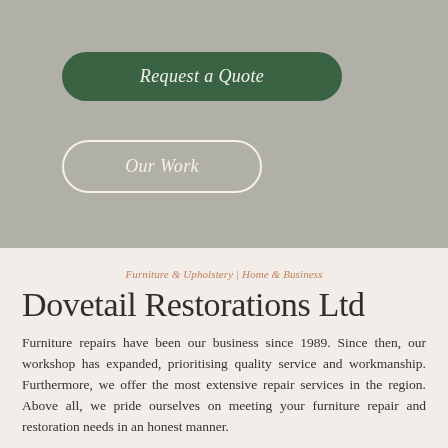[Figure (screenshot): Gray background section of a website with two buttons: a filled dark green 'Request a Quote' button and an outlined 'Our Work' button]
Furniture & Upholstery | Home & Business
Dovetail Restorations Ltd
Furniture repairs have been our business since 1989. Since then, our workshop has expanded, prioritising quality service and workmanship. Furthermore, we offer the most extensive repair services in the region. Above all, we pride ourselves on meeting your furniture repair and restoration needs in an honest manner.